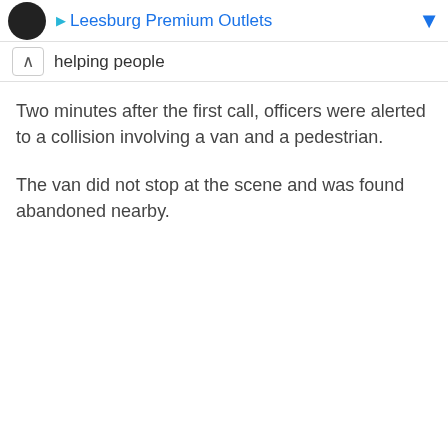Leesburg Premium Outlets
helping people
Two minutes after the first call, officers were alerted to a collision involving a van and a pedestrian.
The van did not stop at the scene and was found abandoned nearby.